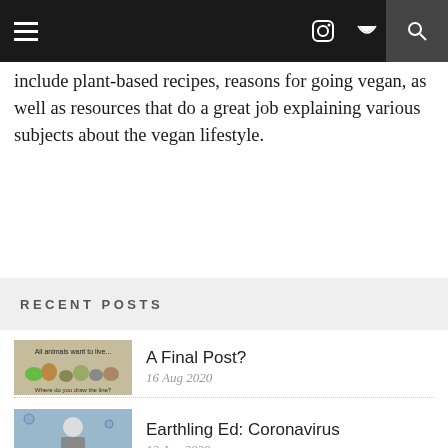Navigation header with menu, icons, and search
include plant-based recipes, reasons for going vegan, as well as resources that do a great job explaining various subjects about the vegan lifestyle.
RECENT POSTS
[Figure (photo): Thumbnail image of animals with text 'All animals want to live... Where do you draw the line?']
A Final Post?
16 Aug 2020
[Figure (photo): Thumbnail image related to Earthling Ed Coronavirus video]
Earthling Ed: Coronavirus
13 Jun 2020
[Figure (photo): Thumbnail image for Mushroom Stroganoff recipe post]
Mushroom Stroganoff
07 Jun 2020